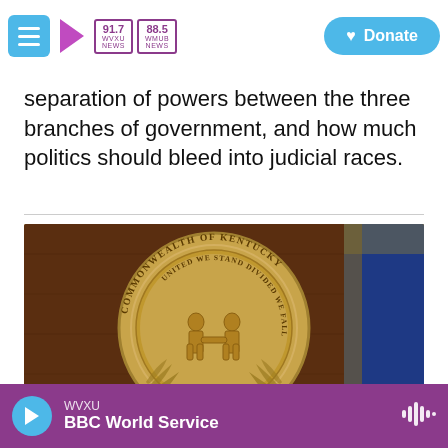WVXU 91.7 NEWS | 88.5 WHMB NEWS | Donate
separation of powers between the three branches of government, and how much politics should bleed into judicial races.
[Figure (photo): Photo of the Commonwealth of Kentucky state seal mounted on a wood-paneled wall, with a blue and gold state flag visible on the right side. The seal reads 'COMMONWEALTH OF KENTUCKY' around the top and 'UNITED WE STAND DIVIDED WE FALL' around the inner ring, with two figures shaking hands in the center.]
WVXU | BBC World Service